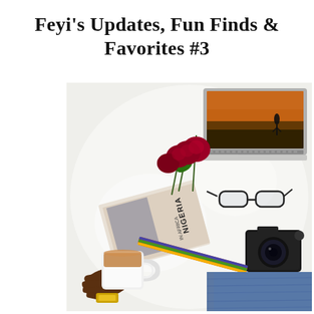Feyi's Updates, Fun Finds & Favorites #3
[Figure (photo): Overhead lifestyle photo on a white fluffy rug showing: a hand holding a white mug of coffee with a gold watch, red roses, a Nigeria magazine/book laid sideways, a camera with a colorful strap, eyeglasses, an open MacBook laptop displaying a sunset scene, and a person's denim-clad legs in the corner.]